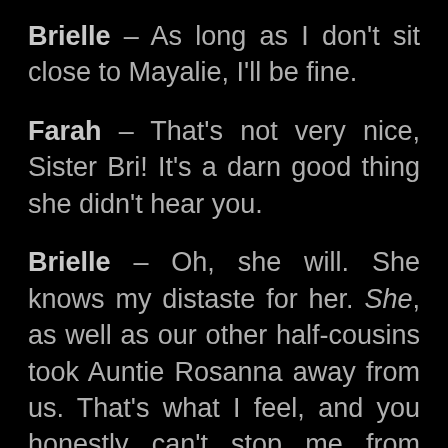Brielle – As long as I don't sit close to Mayalie, I'll be fine.
Farah – That's not very nice, Sister Bri! It's a darn good thing she didn't hear you.
Brielle – Oh, she will. She knows my distaste for her. She, as well as our other half-cousins took Auntie Rosanna away from us. That's what I feel, and you honestly can't stop me from feeling that.